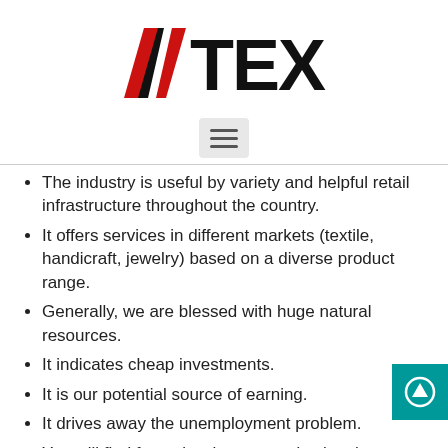[Figure (logo): DTEX company logo with red and black angular design and bold TEX lettering]
[Figure (other): Hamburger menu button icon (three horizontal lines) on a light gray rounded rectangle background]
The industry is useful by variety and helpful retail infrastructure throughout the country.
It offers services in different markets (textile, handicraft, jewelry) based on a diverse product range.
Generally, we are blessed with huge natural resources.
It indicates cheap investments.
It is our potential source of earning.
It drives away the unemployment problem.
You will find fewer barriers to conducting the